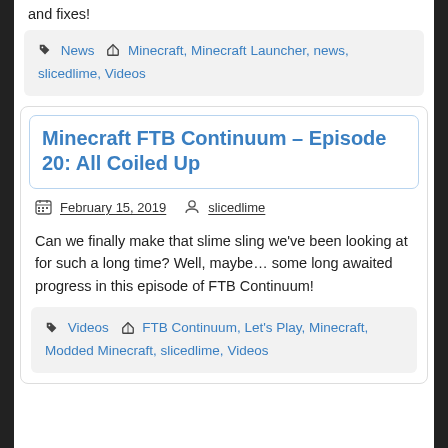and fixes!
News   Minecraft, Minecraft Launcher, news, slicedlime, Videos
Minecraft FTB Continuum – Episode 20: All Coiled Up
February 15, 2019   slicedlime
Can we finally make that slime sling we've been looking at for such a long time? Well, maybe... some long awaited progress in this episode of FTB Continuum!
Videos   FTB Continuum, Let's Play, Minecraft, Modded Minecraft, slicedlime, Videos